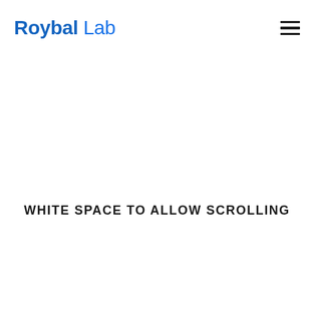Roybal Lab
WHITE SPACE TO ALLOW SCROLLING